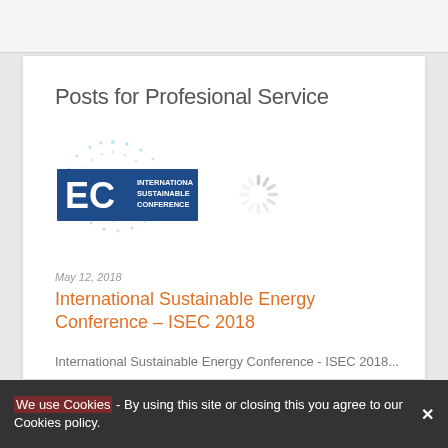Posts for Profesional Service
[Figure (logo): ISEC International Sustainable Energy Conference logo: blue banner with large 'EC' letters and text 'INTERNATIONAL SUSTAINABLE CONFERENCE', overlaid on a light blue dotted circular pattern]
[Figure (other): Loading spinner icon (circular gray dashed spinner)]
May 12, 2018
International Sustainable Energy Conference – ISEC 2018
International Sustainable Energy Conference - ISEC 2018...
We use Cookies - By using this site or closing this you agree to our Cookies policy.